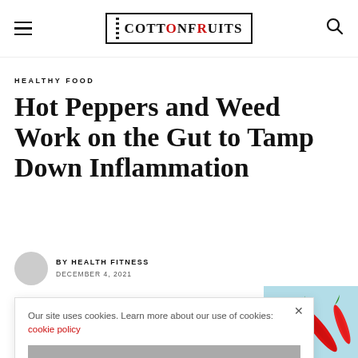COTTONFRUITS
HEALTHY FOOD
Hot Peppers and Weed Work on the Gut to Tamp Down Inflammation
BY HEALTH FITNESS
DECEMBER 4, 2021
Our site uses cookies. Learn more about our use of cookies: cookie policy
I ACCEPT USE OF COOKIES
[Figure (photo): Red chili peppers on a light blue background]